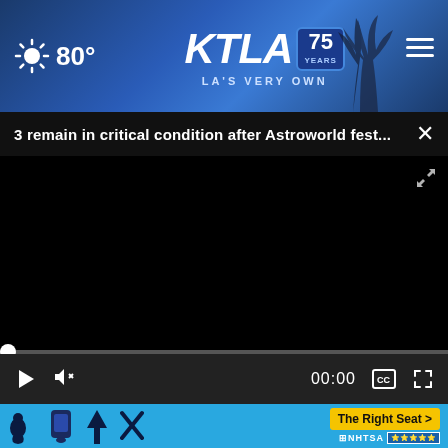[Figure (screenshot): KTLA 75 Years website header with weather (80°), KTLA logo, palm trees background, and hamburger menu]
3 remain in critical condition after Astroworld fest...
[Figure (screenshot): Black video player area with progress bar and playback controls showing 00:00]
Replaced With This Special Program
Smart Consumer Update
[Figure (screenshot): NHTSA car seat advertisement banner with The Right Seat button]